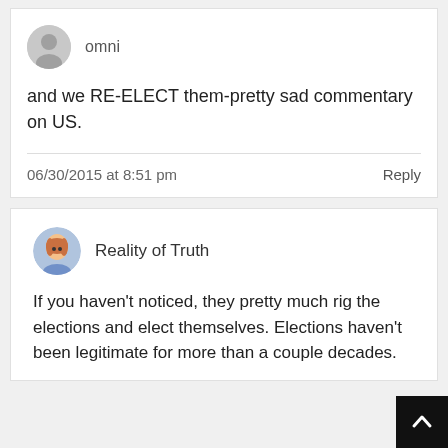omni
and we RE-ELECT them-pretty sad commentary on US.
06/30/2015 at 8:51 pm
Reply
Reality of Truth
If you haven't noticed, they pretty much rig the elections and elect themselves. Elections haven't been legitimate for more than a couple decades.